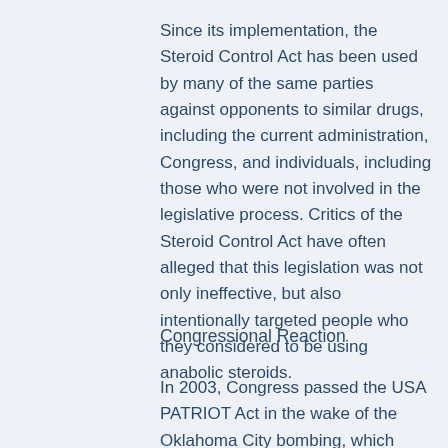Since its implementation, the Steroid Control Act has been used by many of the same parties against opponents to similar drugs, including the current administration, Congress, and individuals, including those who were not involved in the legislative process. Critics of the Steroid Control Act have often alleged that this legislation was not only ineffective, but also intentionally targeted people who they considered to be using anabolic steroids.
Congressional Reaction
In 2003, Congress passed the USA PATRIOT Act in the wake of the Oklahoma City bombing, which resulted in the PATRIOT Act of 2001. The main objective of the PATRIOT Act was to improve the detection, identification, and prosecution of terrorists. The bill also provided for the creation of a